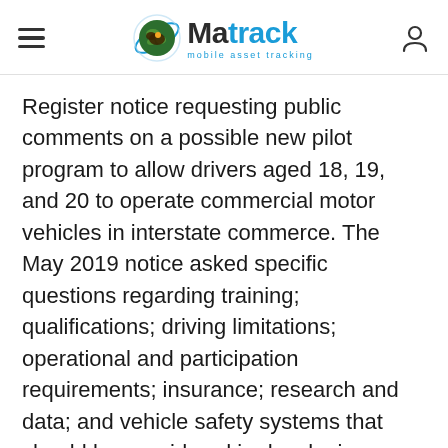Matrack — mobile asset tracking
Register notice requesting public comments on a possible new pilot program to allow drivers aged 18, 19, and 20 to operate commercial motor vehicles in interstate commerce. The May 2019 notice asked specific questions regarding training; qualifications; driving limitations; operational and participation requirements; insurance; research and data; and vehicle safety systems that should be considered in developing a second pilot program for younger drivers.
2020 September – FMCSA Proposes New